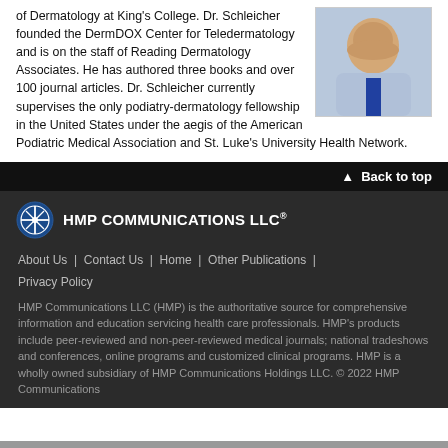of Dermatology at King's College. Dr. Schleicher founded the DermDOX Center for Teledermatology and is on the staff of Reading Dermatology Associates. He has authored three books and over 100 journal articles. Dr. Schleicher currently supervises the only podiatry-dermatology fellowship in the United States under the aegis of the American Podiatric Medical Association and St. Luke's University Health Network.
[Figure (photo): Headshot photograph of Dr. Schleicher wearing a blue striped shirt and blue patterned tie]
▲ Back to top
[Figure (logo): HMP Communications LLC logo - blue cross/compass icon with white text]
About Us | Contact Us | Home | Other Publications |
Privacy Policy
HMP Communications LLC (HMP) is the authoritative source for comprehensive information and education servicing health care professionals. HMP's products include peer-reviewed and non-peer-reviewed medical journals; national tradeshows and conferences, online programs and customized clinical programs. HMP is a wholly owned subsidiary of HMP Communications Holdings LLC. © 2022 HMP Communications